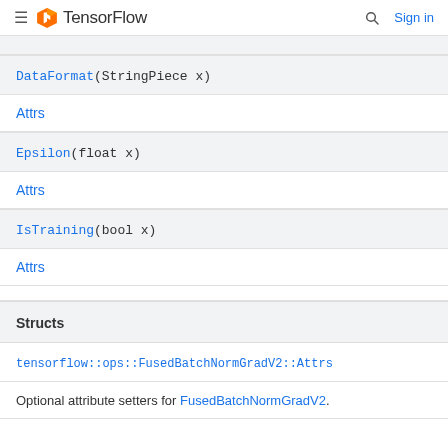TensorFlow  Sign in
DataFormat(StringPiece x)
Attrs
Epsilon(float x)
Attrs
IsTraining(bool x)
Attrs
Structs
tensorflow::ops::FusedBatchNormGradV2::Attrs
Optional attribute setters for FusedBatchNormGradV2.